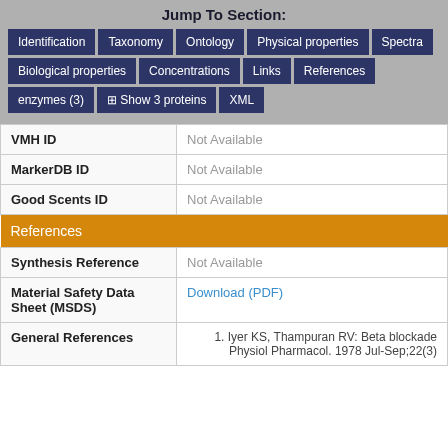Jump To Section:
Identification
Taxonomy
Ontology
Physical properties
Spectra
Biological properties
Concentrations
Links
References
enzymes (3)
Show 3 proteins
XML
| Property | Value |
| --- | --- |
| VMH ID | Not Available |
| MarkerDB ID | Not Available |
| Good Scents ID | Not Available |
| References |  |
| Synthesis Reference | Not Available |
| Material Safety Data Sheet (MSDS) | Download (PDF) |
| General References | 1. Iyer KS, Thampuran RV: Beta blockade Physiol Pharmacol. 1978 Jul-Sep;22(3) |